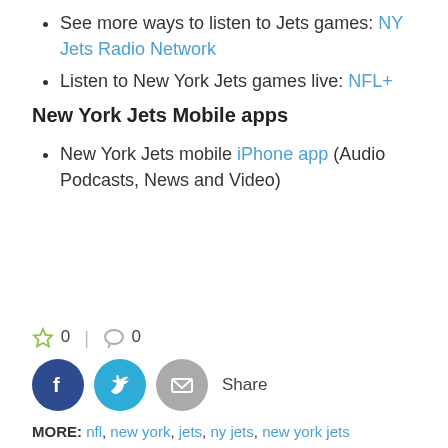See more ways to listen to Jets games: NY Jets Radio Network
Listen to New York Jets games live: NFL+
New York Jets Mobile apps
New York Jets mobile iPhone app (Audio Podcasts, News and Video)
☆ 0 | 🗨 0
[Figure (infographic): Social share buttons: Facebook (dark blue circle with f), Twitter (cyan circle with bird), Email (gray circle with envelope), and Share text label]
MORE: nfl, new york, jets, ny jets, new york jets
Shop Now